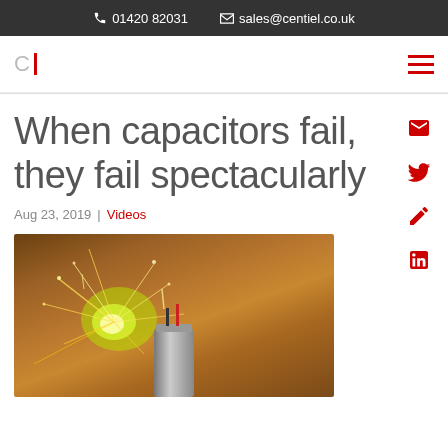✆ 01420 82031  ✉ sales@centiel.co.uk
When capacitors fail, they fail spectacularly
Aug 23, 2019 | Videos
[Figure (photo): A capacitor failing spectacularly with sparks and bright green-yellow flash exploding from it against a brown background]